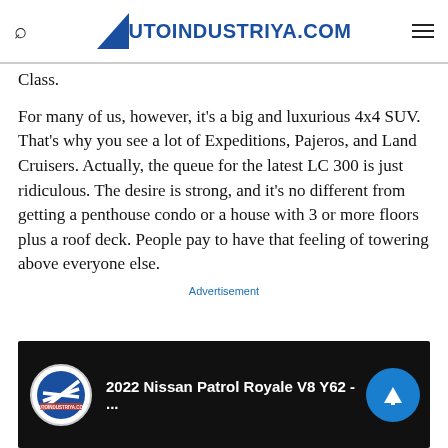AUTOINDUSTRIYA.COM
Class.
For many of us, however, it's a big and luxurious 4x4 SUV. That's why you see a lot of Expeditions, Pajeros, and Land Cruisers. Actually, the queue for the latest LC 300 is just ridiculous. The desire is strong, and it's no different from getting a penthouse condo or a house with 3 or more floors plus a roof deck. People pay to have that feeling of towering above everyone else.
Advertisement
[Figure (screenshot): YouTube video thumbnail showing '2022 Nissan Patrol Royale V8 Y62 - ...' with autoindustriya.com logo and a blue play/scroll button]